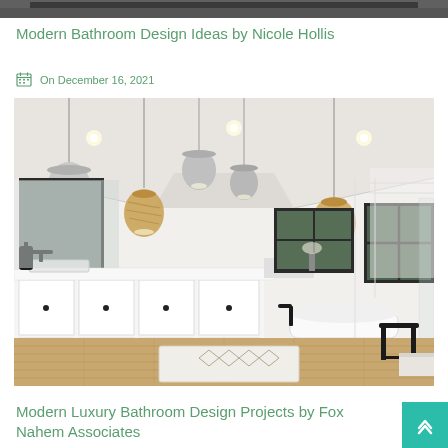[Figure (photo): Top portion of a dark-toned image cropped at the top of the page]
Modern Bathroom Design Ideas by Nicole Hollis
On December 16, 2021
[Figure (photo): Modern luxury bathroom with white cabinetry, pendant lights, freestanding bathtub, black window frames, and wood floors]
Modern Luxury Bathroom Design Projects by Fox Nahem Associates